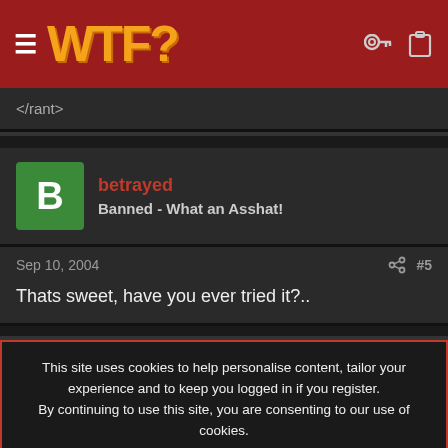WTF?
</rant>
betrayed
Banned - What an Asshat!
Sep 10, 2004  #5
Thats sweet, have you ever tried it?..
This site uses cookies to help personalise content, tailor your experience and to keep you logged in if you register.
By continuing to use this site, you are consenting to our use of cookies.
ACCEPT  LEARN MORE...